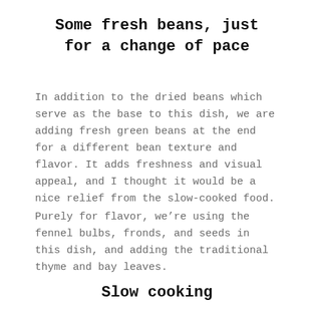Some fresh beans, just for a change of pace
In addition to the dried beans which serve as the base to this dish, we are adding fresh green beans at the end for a different bean texture and flavor. It adds freshness and visual appeal, and I thought it would be a nice relief from the slow-cooked food.
Purely for flavor, we’re using the fennel bulbs, fronds, and seeds in this dish, and adding the traditional thyme and bay leaves.
Slow cooking